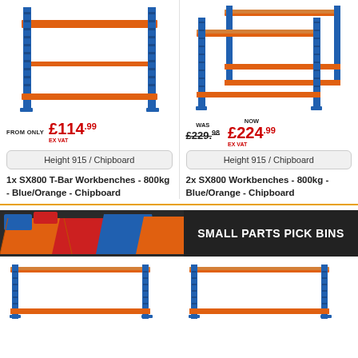[Figure (photo): 1x SX800 T-Bar Workbench blue/orange metal shelving unit]
[Figure (photo): 2x SX800 Workbenches blue/orange metal shelving units]
FROM ONLY £114.99 EX VAT
WAS £229.98 NOW £224.99 EX VAT
Height 915 / Chipboard
Height 915 / Chipboard
1x SX800 T-Bar Workbenches - 800kg - Blue/Orange - Chipboard
2x SX800 Workbenches - 800kg - Blue/Orange - Chipboard
[Figure (photo): Small parts pick bins in various colors - orange, red, blue]
SMALL PARTS PICK BINS
[Figure (photo): Blue/orange workbench product thumbnail left]
[Figure (photo): Blue/orange workbench product thumbnail right]